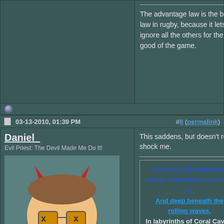The advantage law is the best law in rugby, because it lets you ignore all the others for the good of the game.
03-13-2010, 01:39 PM  #8 (permalink)
Daniel_
Evil Priest: The Devil Made Me Do It!
Location: Southern England
This saddens, but doesn't really shock me.
Overhead, the Albatross hangs motionless upon the air,
And deep beneath the rolling waves,
In labyrinths of Coral Caves,
The Echo of a distant time
Comes willowing across the sand;
And everthing is Green and Submarine
03-13-2010, 02:47 PM  #9 (permalink)
Ourcrazymodern?
still, wondering.
I feel obligated to preface this by affirming that I BELIEVE creationism is hogwash;